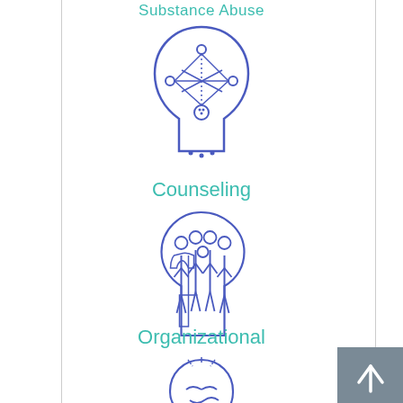Substance Abuse
[Figure (illustration): Icon of a human head profile with neural/brain network connections represented as a geometric node-and-line diagram inside the head, drawn in blue/purple outline style]
Counseling
[Figure (illustration): Icon of a human head profile with multiple small human figures standing inside, representing group/organizational psychology, drawn in blue/purple outline style]
Organizational
[Figure (illustration): Partial icon of a human head with stress/anxiety imagery, drawn in blue/purple outline style, partially visible at bottom of page]